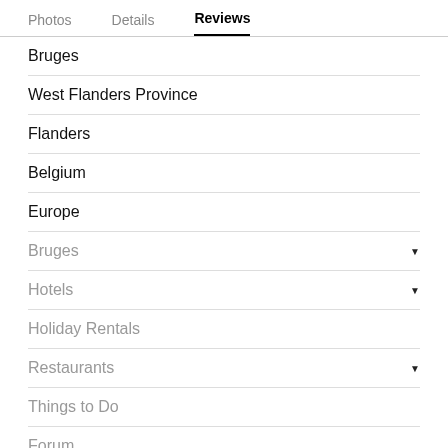Photos   Details   Reviews
Bruges
West Flanders Province
Flanders
Belgium
Europe
Bruges ▾
Hotels ▾
Holiday Rentals
Restaurants ▾
Things to Do
Forum